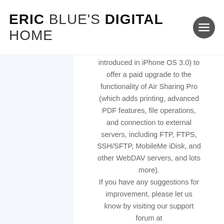ERIC BLUE'S DIGITAL HOME
introduced in iPhone OS 3.0) to offer a paid upgrade to the functionality of Air Sharing Pro (which adds printing, advanced PDF features, file operations, and connection to external servers, including FTP, FTPS, SSH/SFTP, MobileMe iDisk, and other WebDAV servers, and lots more).
If you have any suggestions for improvement, please let us know by visiting our support forum at
http://www.avatron.com.
Cheers!
Dave
Reply